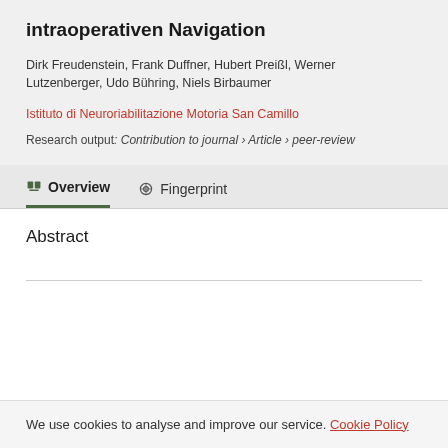intraoperativen Navigation
Dirk Freudenstein, Frank Duffner, Hubert Preißl, Werner Lutzenberger, Udo Bühring, Niels Birbaumer
Istituto di Neuroriabilitazione Motoria San Camillo
Research output: Contribution to journal › Article › peer-review
Abstract
We use cookies to analyse and improve our service. Cookie Policy